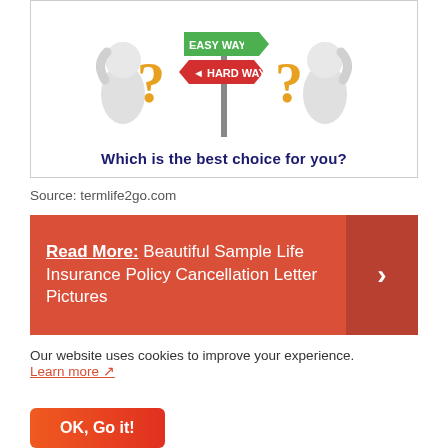[Figure (illustration): Two white cartoon figures holding large golden question marks flank a road sign post showing 'EASY WAY' (green, pointing right) and 'HARD WAY' (red, pointing left). Below the illustration text reads 'Which is the best choice for you?' in bold dark blue.]
Source: termlife2go.com
Read More:  Beautiful Sample Life Insurance Policy Cancellation Letter Pictures
Our website uses cookies to improve your experience. Learn more
OK, Go it!